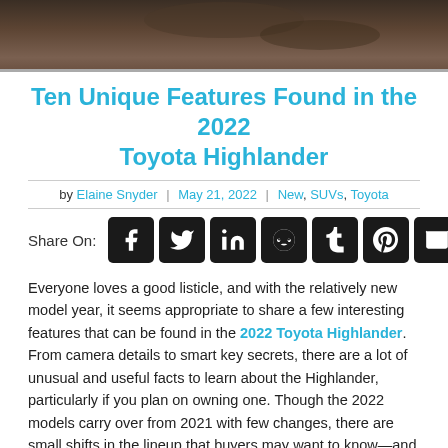[Figure (photo): Top portion of a car interior/exterior photo, dark tones]
Ten Unique Features Found in the 2022 Toyota Highlander
by Elaine Snyder | May 21, 2022 | New, SUVs, Toyota
Share On:
[Figure (infographic): Social media share buttons: Facebook, Twitter, LinkedIn, Reddit, Tumblr, Pinterest, Email]
Everyone loves a good listicle, and with the relatively new model year, it seems appropriate to share a few interesting features that can be found in the 2022 Toyota Highlander. From camera details to smart key secrets, there are a lot of unusual and useful facts to learn about the Highlander, particularly if you plan on owning one. Though the 2022 models carry over from 2021 with few changes, there are small shifts in the lineup that buyers may want to know—and helpful tips